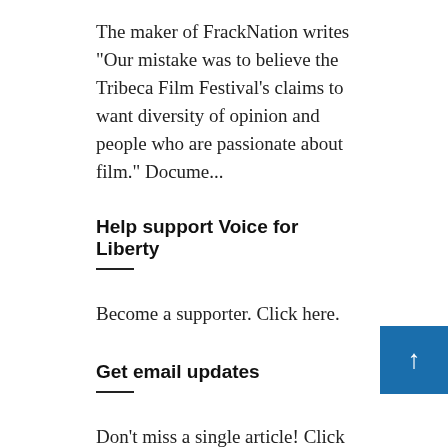The maker of FrackNation writes "Our mistake was to believe the Tribeca Film Festival's claims to want diversity of opinion and people who are passionate about film." Docume...
Help support Voice for Liberty
Become a supporter. Click here.
Get email updates
Don't miss a single article! Click here to receive email updates once or twice week...